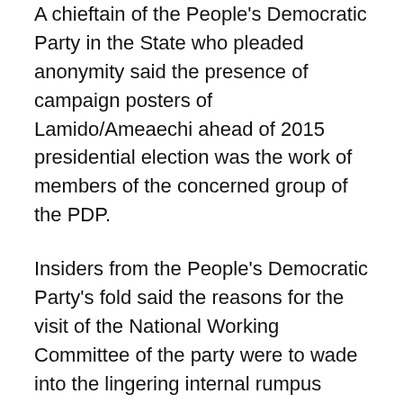A chieftain of the People's Democratic Party in the State who pleaded anonymity said the presence of campaign posters of Lamido/Ameaechi ahead of 2015 presidential election was the work of members of the concerned group of the PDP.
Insiders from the People's Democratic Party's fold said the reasons for the visit of the National Working Committee of the party were to wade into the lingering internal rumpus between the two factions of the party. The in-house crisis bedeviled the party aftermath of the defeat of the PDP in the State. The party experienced fragile peace and untimely decamping of supporters to the ruling party in the state, the CPC.
Grapevine from the state secretariat of the party revealed that the chief article of the conference was intended at restoring the fissure that gripped the survival of the party especially what stopped the party from winning Governorship